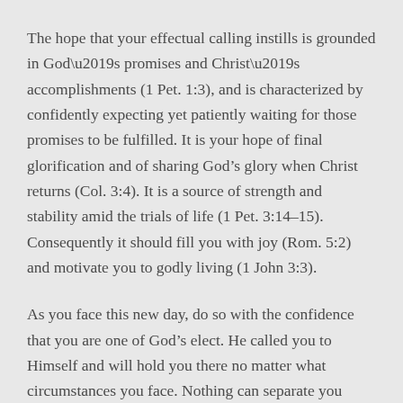The hope that your effectual calling instills is grounded in God’s promises and Christ’s accomplishments (1 Pet. 1:3), and is characterized by confidently expecting yet patiently waiting for those promises to be fulfilled. It is your hope of final glorification and of sharing God’s glory when Christ returns (Col. 3:4). It is a source of strength and stability amid the trials of life (1 Pet. 3:14–15). Consequently it should fill you with joy (Rom. 5:2) and motivate you to godly living (1 John 3:3).
As you face this new day, do so with the confidence that you are one of God’s elect. He called you to Himself and will hold you there no matter what circumstances you face. Nothing can separate you from His love (Rom. 8:38–39)!